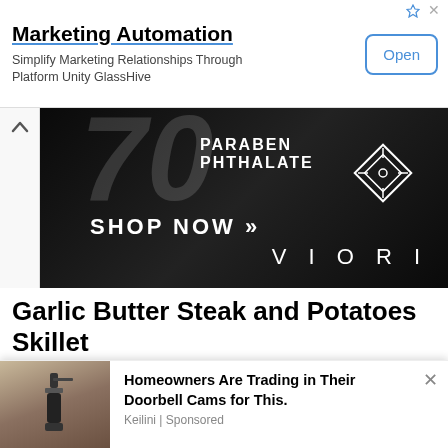[Figure (screenshot): Advertisement banner for Marketing Automation - GlassHive platform with Open button]
[Figure (screenshot): Viori product advertisement on black background showing PARABEN PHTHALATE text, SHOP NOW with arrows, and VIORI logo diamond]
Garlic Butter Steak and Potatoes Skillet
[Figure (screenshot): Blue Line advertisement banner with 'What if the' text and eagle wings graphic]
[Figure (screenshot): Bottom notification ad: photo of outdoor wall lamp, text 'Homeowners Are Trading in Their Doorbell Cams for This.' Keilini | Sponsored]